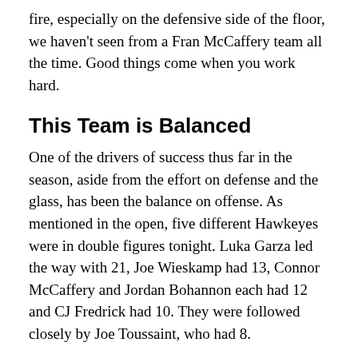fire, especially on the defensive side of the floor, we haven't seen from a Fran McCaffery team all the time. Good things come when you work hard.
This Team is Balanced
One of the drivers of success thus far in the season, aside from the effort on defense and the glass, has been the balance on offense. As mentioned in the open, five different Hawkeyes were in double figures tonight. Luka Garza led the way with 21, Joe Wieskamp had 13, Connor McCaffery and Jordan Bohannon each had 12 and CJ Fredrick had 10. They were followed closely by Joe Toussaint, who had 8.
Wherever the Cyclones rotated on defense, there was someone open for Iowa. That open man was knocking down shots or getting into the lane. With that type of